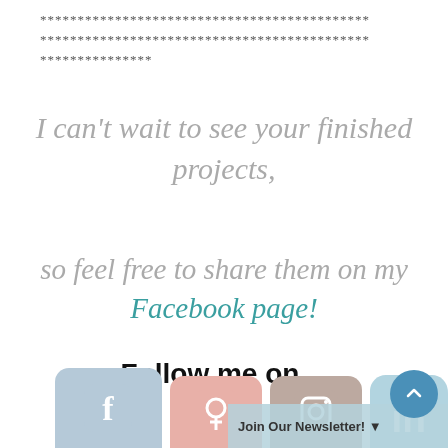********************************************
********************************************
***************
I can't wait to see your finished projects,
so feel free to share them on my Facebook page!
Follow me on...
[Figure (other): Social media icon buttons for Facebook, Pinterest, Instagram, and Twitter/other at the bottom of the page, with a Join Our Newsletter bar overlay]